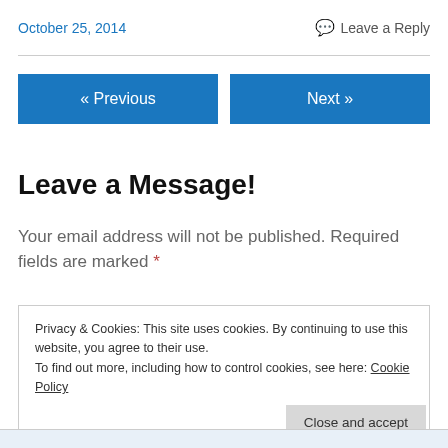October 25, 2014
Leave a Reply
« Previous
Next »
Leave a Message!
Your email address will not be published. Required fields are marked *
Privacy & Cookies: This site uses cookies. By continuing to use this website, you agree to their use.
To find out more, including how to control cookies, see here: Cookie Policy
Close and accept